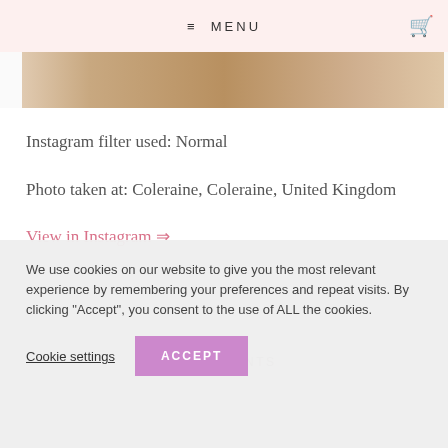≡ MENU
[Figure (photo): Partial photo strip showing a warm-toned interior/wooden surface image]
Instagram filter used: Normal
Photo taken at: Coleraine, Coleraine, United Kingdom
View in Instagram ⇒
0 COMMENTS
We use cookies on our website to give you the most relevant experience by remembering your preferences and repeat visits. By clicking "Accept", you consent to the use of ALL the cookies.
Cookie settings
ACCEPT